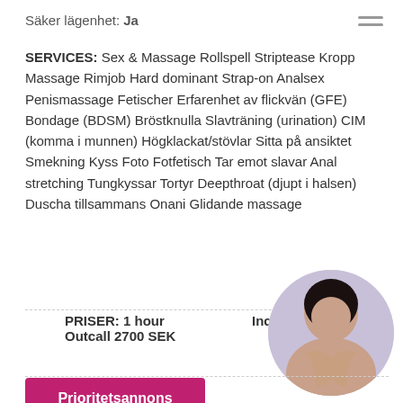Säker lägenhet: Ja
SERVICES: Sex & Massage Rollspell Striptease Kropp Massage Rimjob Hard dominant Strap-on Analsex Penismassage Fetischer Erfarenhet av flickvän (GFE) Bondage (BDSM) Bröstknulla Slavträning (urination) CIM (komma i munnen) Högklackat/stövlar Sitta på ansiktet Smekning Kyss Foto Fotfetisch Tar emot slavar Anal stretching Tungkyssar Tortyr Deepthroat (djupt i halsen) Duscha tillsammans Onani Glidande massage
PRISER: 1 hour Outcall 2700 SEK
Incall 1800 SEK
[Figure (photo): Circular cropped photo of a woman with dark hair]
Prioritetsannons